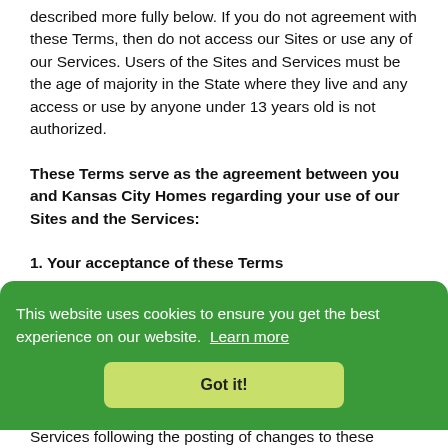described more fully below. If you do not agreement with these Terms, then do not access our Sites or use any of our Services. Users of the Sites and Services must be the age of majority in the State where they live and any access or use by anyone under 13 years old is not authorized.
These Terms serve as the agreement between you and Kansas City Homes regarding your use of our Sites and the Services:
1. Your acceptance of these Terms
[Figure (screenshot): Cookie consent banner with green background. Text: 'This website uses cookies to ensure you get the best experience on our website. Learn more' with a 'Got it!' button.]
Services following the posting of changes to these